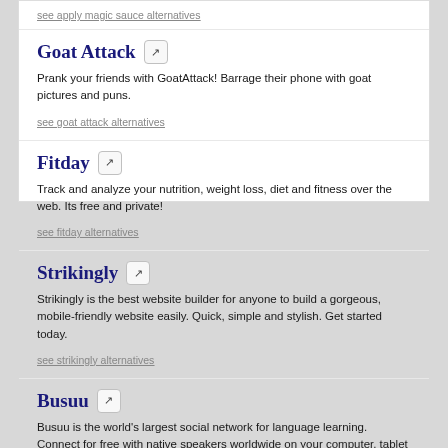see apply magic sauce alternatives
Goat Attack
Prank your friends with GoatAttack! Barrage their phone with goat pictures and puns.
see goat attack alternatives
Fitday
Track and analyze your nutrition, weight loss, diet and fitness over the web. Its free and private!
see fitday alternatives
Strikingly
Strikingly is the best website builder for anyone to build a gorgeous, mobile-friendly website easily. Quick, simple and stylish. Get started today.
see strikingly alternatives
Busuu
Busuu is the world's largest social network for language learning. Connect for free with native speakers worldwide on your computer, tablet or mobile.
see busuu alternatives